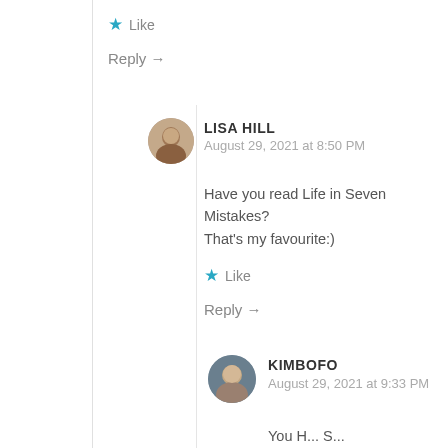★ Like
Reply →
LISA HILL
August 29, 2021 at 8:50 PM
Have you read Life in Seven Mistakes? That's my favourite:)
★ Like
Reply →
[Figure (photo): Round avatar photo of Lisa Hill, a woman with short hair]
KIMBOFO
August 29, 2021 at 9:33 PM
[Figure (photo): Round avatar photo of Kimbofo, a woman with light hair]